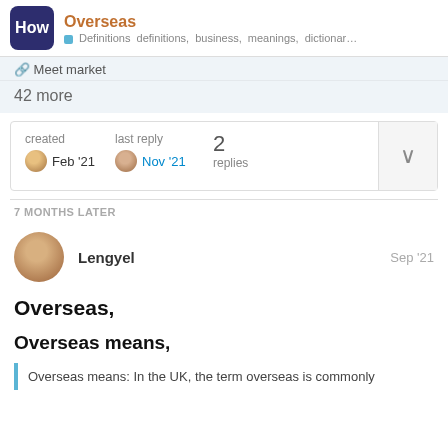Overseas — Definitions definitions, business, meanings, dictionar…
🔗 Meet market
42 more
| created | last reply | replies |  |
| --- | --- | --- | --- |
| Feb '21 | Nov '21 | 2 | ∨ |
7 MONTHS LATER
Lengyel    Sep '21
Overseas,
Overseas means,
Overseas means: In the UK, the term overseas is commonly